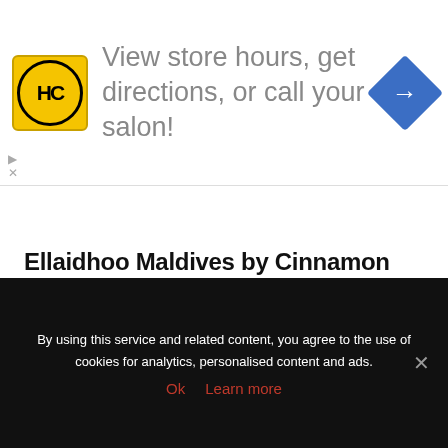[Figure (illustration): Advertisement banner with HC (Hair Cuttery) yellow logo, text 'View store hours, get directions, or call your salon!', and a blue navigation diamond arrow icon]
Ellaidhoo Maldives by Cinnamon
[Figure (photo): Aerial photograph of a small tropical island in the Maldives surrounded by turquoise water, densely covered with palm trees and tropical vegetation, with resort buildings visible]
By using this service and related content, you agree to the use of cookies for analytics, personalised content and ads.
Ok   Learn more